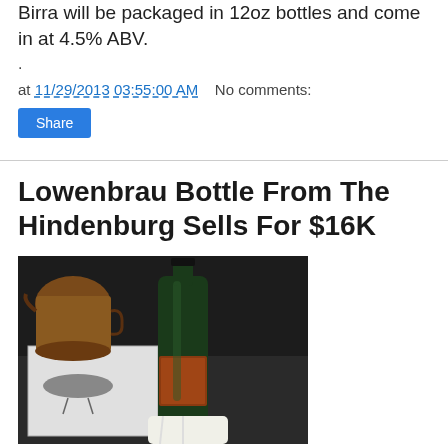Birra will be packaged in 12oz bottles and come in at 4.5% ABV.
.
at 11/29/2013 03:55:00 AM   No comments:
Share
Lowenbrau Bottle From The Hindenburg Sells For $16K
[Figure (photo): A dark green Lowenbrau bottle held upright on a table, with a copper/metallic pitcher in the background and a black-and-white photograph visible beneath the bottle.]